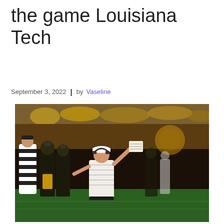the game Louisiana Tech
September 3, 2022  |  by Vaseline
[Figure (photo): A football coach in a white striped polo shirt and white cap holding up a placard on the sideline, surrounded by players in black and gold uniforms and a referee in stripes, at a night game.]